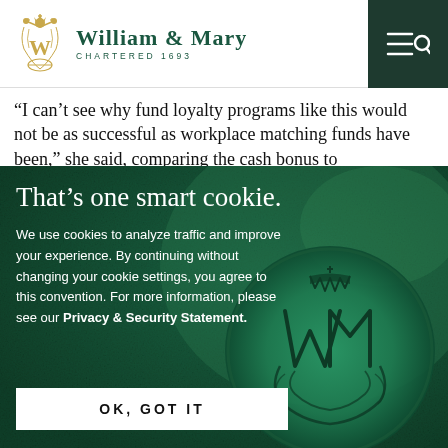[Figure (logo): William & Mary university logo with crown emblem and text 'WILLIAM & MARY CHARTERED 1693']
“I can’t see why fund loyalty programs like this would not be as successful as workplace matching funds have been,” she said, comparing the cash bonus to
[Figure (photo): Cookie consent overlay on dark green background with William & Mary wax seal. Title: That’s one smart cookie. Body text about cookie policy. OK GOT IT button.]
That’s one smart cookie.
We use cookies to analyze traffic and improve your experience. By continuing without changing your cookie settings, you agree to this convention. For more information, please see our Privacy & Security Statement.